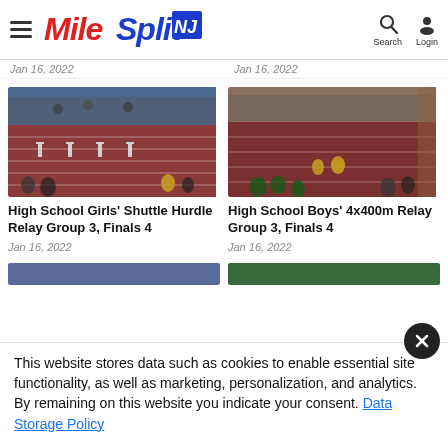MileSplit NJ
Jan 16, 2022   Jan 16, 2022
[Figure (photo): Indoor track meet with hurdles on a red track, athletes and spectators visible in a blue-roofed arena]
High School Girls' Shuttle Hurdle Relay Group 3, Finals 4
Jan 16, 2022
[Figure (photo): Indoor track meet on red track with athlete in yellow jersey, spectators visible]
High School Boys' 4x400m Relay Group 3, Finals 4
Jan 16, 2022
This website stores data such as cookies to enable essential site functionality, as well as marketing, personalization, and analytics. By remaining on this website you indicate your consent. Data Storage Policy